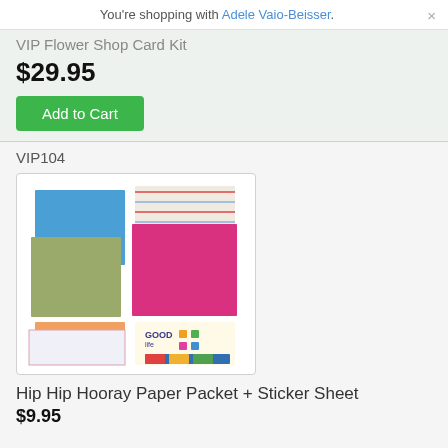You're shopping with Adele Vaio-Beisser.
VIP Flower Shop Card Kit
$29.95
Add to Cart
VIP104
[Figure (photo): Hip Hip Hooray Paper Packet and Sticker Sheet product image showing colorful paper sheets and sticker sheet]
Hip Hip Hooray Paper Packet + Sticker Sheet
$9.95